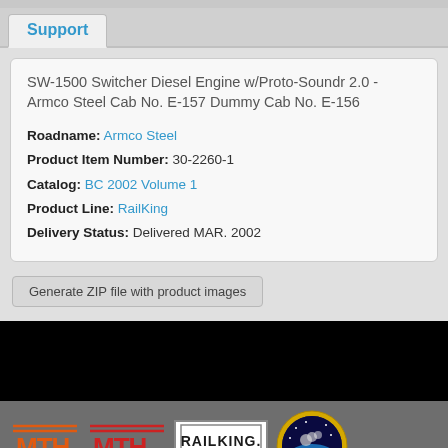Support
SW-1500 Switcher Diesel Engine w/Proto-Soundr 2.0 - Armco Steel Cab No. E-157 Dummy Cab No. E-156
Roadname: Armco Steel
Product Item Number: 30-2260-1
Catalog: BC 2002 Volume 1
Product Line: RailKing
Delivery Status: Delivered MAR. 2002
Generate ZIP file with product images
[Figure (logo): MTH Electric Trains footer logos: MTH HO Trains That Do More, MTH S Gauge Trains That Do More, RailKing by MTH Electric Trains, MTH Electric Trains Premier circular logo]